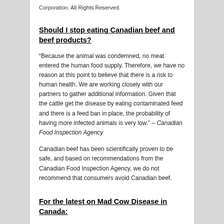Corporation. All Rights Reserved.
Should I stop eating Canadian beef and beef products?
“Because the animal was condemned, no meat entered the human food supply. Therefore, we have no reason at this point to believe that there is a risk to human health. We are working closely with our partners to gather additional information. Given that the cattle get the disease by eating contaminated feed and there is a feed ban in place, the probability of having more infected animals is very low.” – Canadian Food Inspection Agency
Canadian beef has been scientifically proven to be safe, and based on recommendations from the Canadian Food Inspection Agency, we do not recommend that consumers avoid Canadian beef.
For the latest on Mad Cow Disease in Canada: